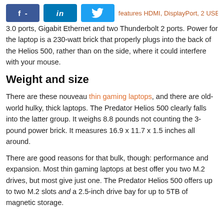[Figure (other): Social share buttons: Facebook (f -), LinkedIn (in), Twitter (bird icon), followed by partial orange text 'features HDMI, DisplayPort, 2 USB']
3.0 ports, Gigabit Ethernet and two Thunderbolt 2 ports. Power for the laptop is a 230-watt brick that properly plugs into the back of the Helios 500, rather than on the side, where it could interfere with your mouse.
Weight and size
There are these nouveau thin gaming laptops, and there are old-world hulky, thick laptops. The Predator Helios 500 clearly falls into the latter group. It weighs 8.8 pounds not counting the 3-pound power brick. It measures 16.9 x 11.7 x 1.5 inches all around.
There are good reasons for that bulk, though: performance and expansion. Most thin gaming laptops at best offer you two M.2 drives, but most give just one. The Predator Helios 500 offers up to two M.2 slots and a 2.5-inch drive bay for up to 5TB of magnetic storage.